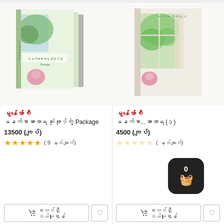[Figure (photo): Book set package - multiple books with green scenic cover]
မွန်ဟော်စီ
မနက်စာအာဟာရ သုံးအုပ်တွဲ Package
13500 (ကျပ်)
( 9 မှတ်ချက်)
[Figure (photo): Single book with green scenic window cover]
မွန်ဟော်စီ
မနက်စာ...အာဟာရ (၃)
4500 (ကျပ်)
( မှတ်ချက်)